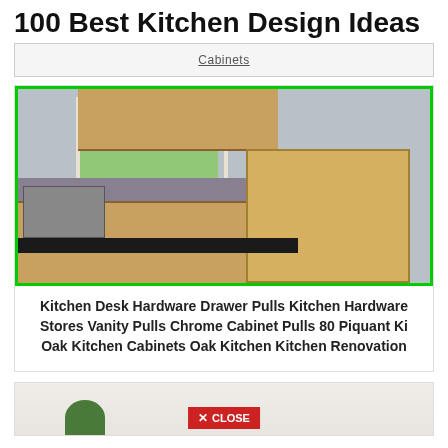100 Best Kitchen Design Ideas
Cabinets
[Figure (photo): Kitchen interior with light oak cabinets, black countertop, stainless steel microwave, sink, and a wooden kitchen island/cart with a bowl of bananas on top. Green border around image.]
Kitchen Desk Hardware Drawer Pulls Kitchen Hardware Stores Vanity Pulls Chrome Cabinet Pulls 80 Piquant Ki Oak Kitchen Cabinets Oak Kitchen Kitchen Renovation
[Figure (photo): Partial view of another kitchen image at the bottom of the page, with a red CLOSE button overlay.]